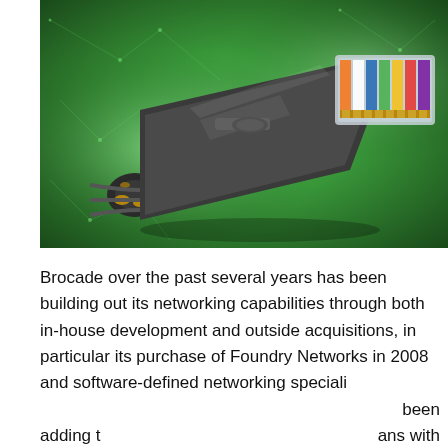[Figure (photo): Close-up photo of a network ethernet RJ45 connector/plug against a green digital network background with circuit-like patterns]
Brocade over the past several years has been building out its networking capabilities through both in-house development and outside acquisitions, in particular its purchase of Foundry Networks in 2008 and software-defined networking speciali… [been] adding t… [ans with]